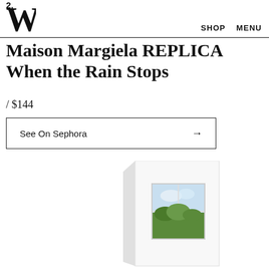W SHOP MENU
Maison Margiela REPLICA When the Rain Stops
/ $144
See On Sephora →
[Figure (photo): White rectangular perfume box with an open window image on the front showing a sky and green trees, Maison Margiela REPLICA When the Rain Stops packaging]